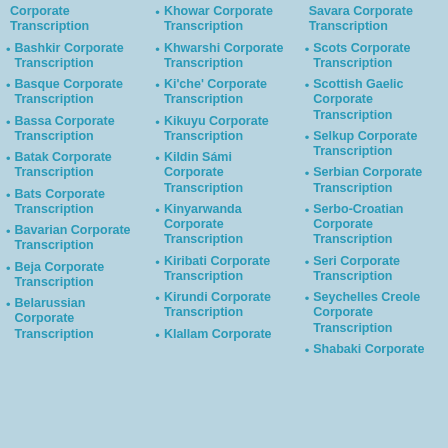Corporate Transcription
Bashkir Corporate Transcription
Basque Corporate Transcription
Bassa Corporate Transcription
Batak Corporate Transcription
Bats Corporate Transcription
Bavarian Corporate Transcription
Beja Corporate Transcription
Belarussian Corporate Transcription
Khowar Corporate Transcription
Khwarshi Corporate Transcription
Ki'che' Corporate Transcription
Kikuyu Corporate Transcription
Kildin Sámi Corporate Transcription
Kinyarwanda Corporate Transcription
Kiribati Corporate Transcription
Kirundi Corporate Transcription
Klallam Corporate
Savara Corporate Transcription
Scots Corporate Transcription
Scottish Gaelic Corporate Transcription
Selkup Corporate Transcription
Serbian Corporate Transcription
Serbo-Croatian Corporate Transcription
Seri Corporate Transcription
Seychelles Creole Corporate Transcription
Shabaki Corporate